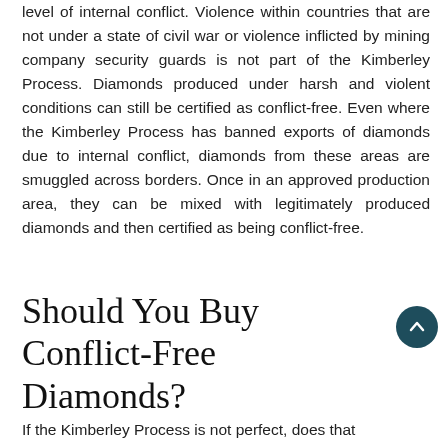level of internal conflict. Violence within countries that are not under a state of civil war or violence inflicted by mining company security guards is not part of the Kimberley Process. Diamonds produced under harsh and violent conditions can still be certified as conflict-free. Even where the Kimberley Process has banned exports of diamonds due to internal conflict, diamonds from these areas are smuggled across borders. Once in an approved production area, they can be mixed with legitimately produced diamonds and then certified as being conflict-free.
Should You Buy Conflict-Free Diamonds?
If the Kimberley Process is not perfect, does that